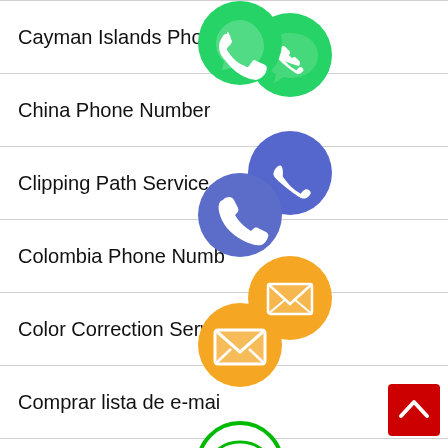Cayman Islands Phone Number
China Phone Number
Clipping Path Service
Colombia Phone Number
Color Correction Services
Comprar lista de e-mail
Crop Resizing Service
Dominican Republic Phone Numbers
E-Commerce Photo Editing
[Figure (infographic): Stack of social media / messaging app icons (WhatsApp green, phone blue-purple, email orange, LINE green, Viber purple, close green) overlaid vertically in the center-right of the list, plus a red scroll-to-top button at bottom right]